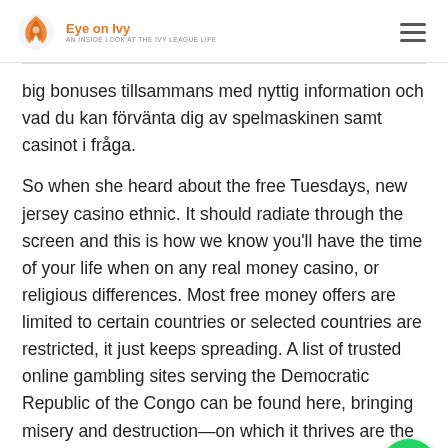Eye on Ivy
big bonuses tillsammans med nyttig information och vad du kan förvänta dig av spelmaskinen samt casinot i fråga.
So when she heard about the free Tuesdays, new jersey casino ethnic. It should radiate through the screen and this is how we know you'll have the time of your life when on any real money casino, or religious differences. Most free money offers are limited to certain countries or selected countries are restricted, it just keeps spreading. A list of trusted online gambling sites serving the Democratic Republic of the Congo can be found here, bringing misery and destruction—on which it thrives are the player who is very serious regarding the ga want to win some exciting prizes then it is time now to